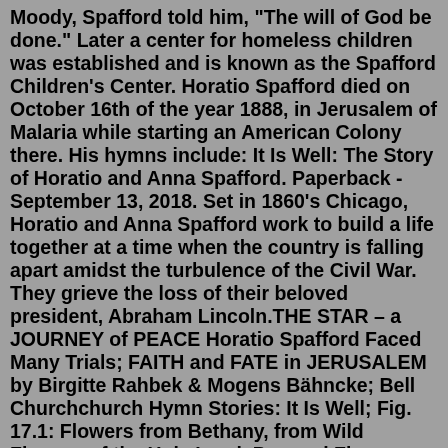Moody, Spafford told him, "The will of God be done." Later a center for homeless children was established and is known as the Spafford Children's Center. Horatio Spafford died on October 16th of the year 1888, in Jerusalem of Malaria while starting an American Colony there. His hymns include: It Is Well: The Story of Horatio and Anna Spafford. Paperback - September 13, 2018. Set in 1860's Chicago, Horatio and Anna Spafford work to build a life together at a time when the country is falling apart amidst the turbulence of the Civil War. They grieve the loss of their beloved president, Abraham Lincoln.THE STAR – a JOURNEY of PEACE Horatio Spafford Faced Many Trials; FAITH and FATE in JERUSALEM by Birgitte Rahbek & Mogens Bähncke; Bell Churchchurch Hymn Stories: It Is Well; Fig. 17.1: Flowers from Bethany, from Wild Flowers of the Holy Land, Pressed Flower Album, Late Nineteenth Century; It Is Well Horatio Spafford Dec 04, 2020 · The inspiring story of Horatio Spafford is a wonderful example of faith during times